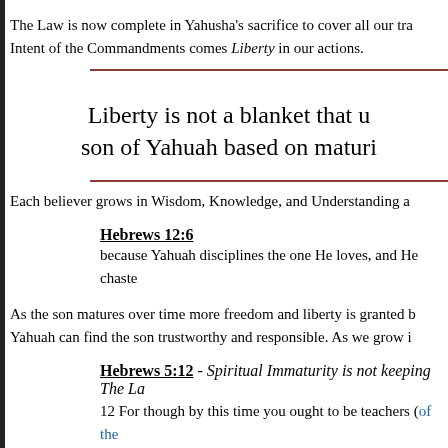The Law is now complete in Yahusha's sacrifice to cover all our tra... Intent of the Commandments comes Liberty in our actions.
Liberty is not a blanket that u... son of Yahuah based on maturi...
Each believer grows in Wisdom, Knowledge, and Understanding a...
Hebrews 12:6
because Yahuah disciplines the one He loves, and He chaste...
As the son matures over time more freedom and liberty is granted b... Yahuah can find the son trustworthy and responsible. As we grow i...
Hebrews 5:12 - Spiritual Immaturity is not keeping The La...
12 For though by this time you ought to be teachers (of the ... the first principles of the oracles of Yahuah (that is the Tora... of Righteousness (the Torah), for he is a babe. 14 But solid...